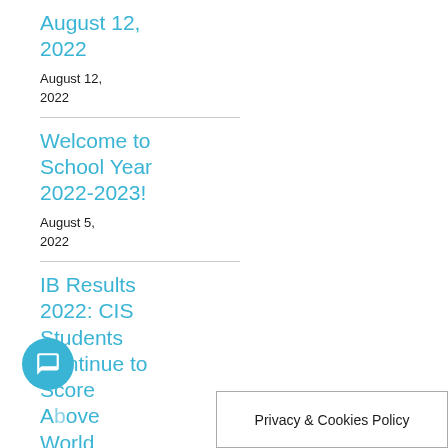August 12, 2022
August 12, 2022
Welcome to School Year 2022-2023!
August 5, 2022
IB Results 2022: CIS Students Continue to Score Above World
Privacy & Cookies Policy